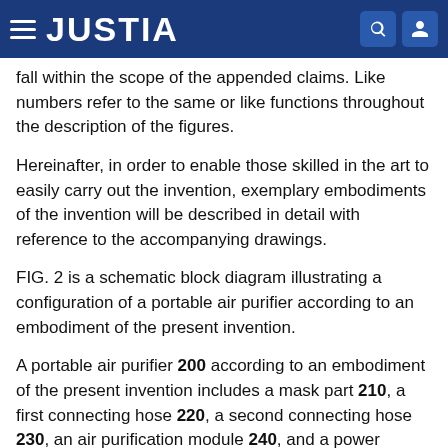JUSTIA
fall within the scope of the appended claims. Like numbers refer to the same or like functions throughout the description of the figures.
Hereinafter, in order to enable those skilled in the art to easily carry out the invention, exemplary embodiments of the invention will be described in detail with reference to the accompanying drawings.
FIG. 2 is a schematic block diagram illustrating a configuration of a portable air purifier according to an embodiment of the present invention.
A portable air purifier 200 according to an embodiment of the present invention includes a mask part 210, a first connecting hose 220, a second connecting hose 230, an air purification module 240, and a power supply unit 250.